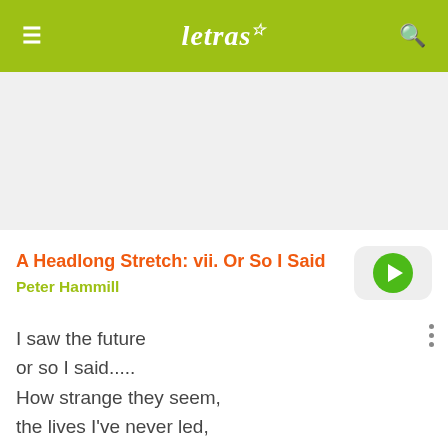letras☆
[Figure (other): Gray advertisement/banner area placeholder]
A Headlong Stretch: vii. Or So I Said
Peter Hammill
I saw the future
or so I said.....
How strange they seem,
the lives I've never led,
thinking ahead.